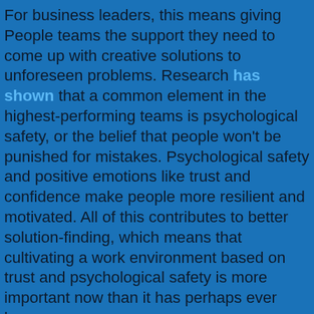For business leaders, this means giving People teams the support they need to come up with creative solutions to unforeseen problems. Research has shown that a common element in the highest-performing teams is psychological safety, or the belief that people won't be punished for mistakes. Psychological safety and positive emotions like trust and confidence make people more resilient and motivated. All of this contributes to better solution-finding, which means that cultivating a work environment based on trust and psychological safety is more important now than it has perhaps ever been.
Plan for as many scenarios as you can
The key to getting your post-COVID planning right…